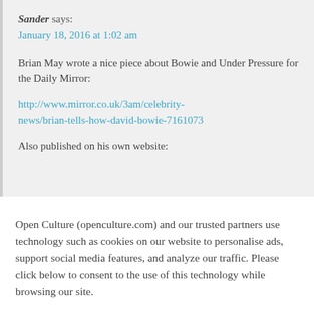Sander says:
January 18, 2016 at 1:02 am
Brian May wrote a nice piece about Bowie and Under Pressure for the Daily Mirror:
http://www.mirror.co.uk/3am/celebrity-news/brian-tells-how-david-bowie-7161073
Also published on his own website:
Open Culture (openculture.com) and our trusted partners use technology such as cookies on our website to personalise ads, support social media features, and analyze our traffic. Please click below to consent to the use of this technology while browsing our site.
Cookie settings
ACCEPT